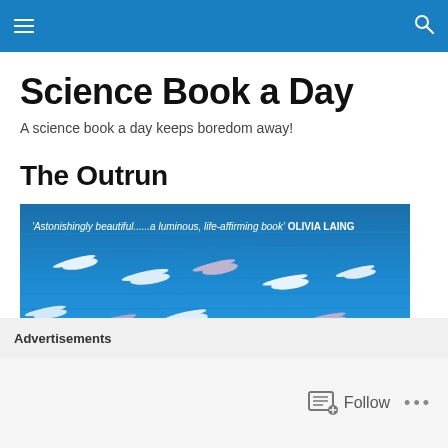Science Book a Day — navigation bar
Science Book a Day
A science book a day keeps boredom away!
The Outrun
[Figure (photo): Book cover of The Outrun showing birds flying over a blue ocean/sky background with text: 'Astonishingly beautiful...a luminous, life-affirming book' OLIVIA LAING]
Advertisements
Follow ...